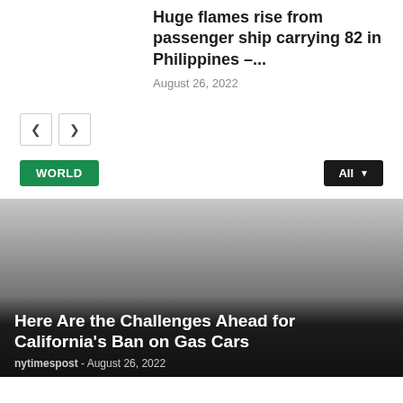Huge flames rise from passenger ship carrying 82 in Philippines –...
August 26, 2022
[Figure (other): Navigation previous/next buttons]
WORLD
All
[Figure (photo): Featured article image with gradient overlay showing a dark scene]
Here Are the Challenges Ahead for California’s Ban on Gas Cars
nytimespost - August 26, 2022